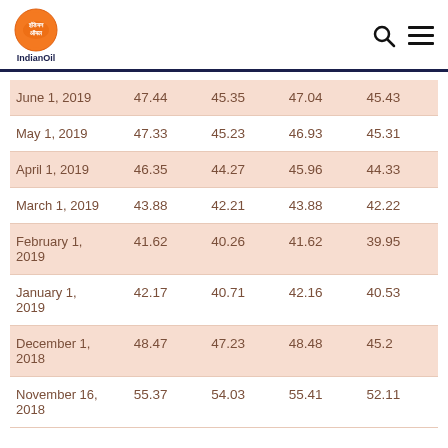IndianOil
| June 1, 2019 | 47.44 | 45.35 | 47.04 | 45.43 |
| May 1, 2019 | 47.33 | 45.23 | 46.93 | 45.31 |
| April 1, 2019 | 46.35 | 44.27 | 45.96 | 44.33 |
| March 1, 2019 | 43.88 | 42.21 | 43.88 | 42.22 |
| February 1, 2019 | 41.62 | 40.26 | 41.62 | 39.95 |
| January 1, 2019 | 42.17 | 40.71 | 42.16 | 40.53 |
| December 1, 2018 | 48.47 | 47.23 | 48.48 | 45.2 |
| November 16, 2018 | 55.37 | 54.03 | 55.41 | 52.11 |